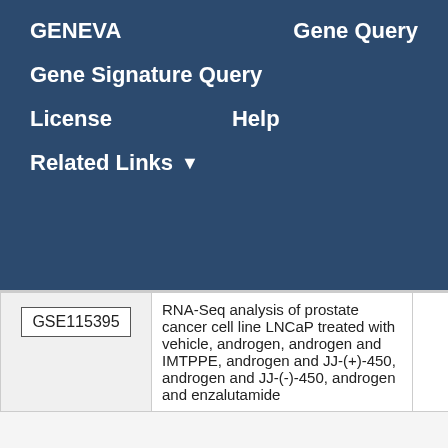GENEVA   Gene Query
Gene Signature Query
License   Help
Related Links ▼
|  | Description | Score |
| --- | --- | --- |
| GSE115395 | RNA-Seq analysis of prostate cancer cell line LNCaP treated with vehicle, androgen, androgen and IMTPPE, androgen and JJ-(+)-450, androgen and JJ-(-)-450, androgen and enzalutamide | 1.45 |